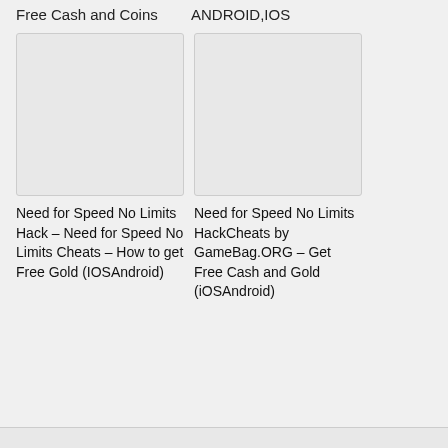Free Cash and Coins
ANDROID,IOS
[Figure (photo): Blank/empty image placeholder for Need for Speed No Limits Hack left card]
Need for Speed No Limits Hack – Need for Speed No Limits Cheats – How to get Free Gold (IOSAndroid)
[Figure (photo): Blank/empty image placeholder for Need for Speed No Limits HackCheats right card]
Need for Speed No Limits HackCheats by GameBag.ORG – Get Free Cash and Gold (iOSAndroid)